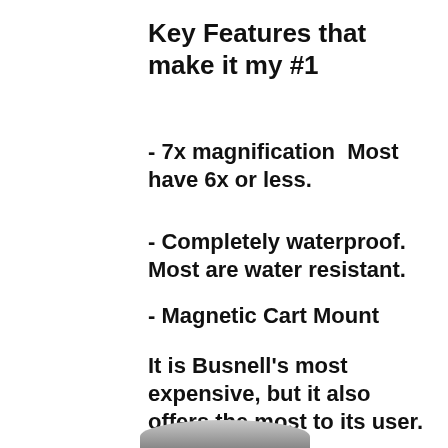Key Features that make it my #1
- 7x magnification  Most have 6x or less.
- Completely waterproof. Most are water resistant.
- Magnetic Cart Mount
It is Busnell's most expensive, but it also offers the most to its user.